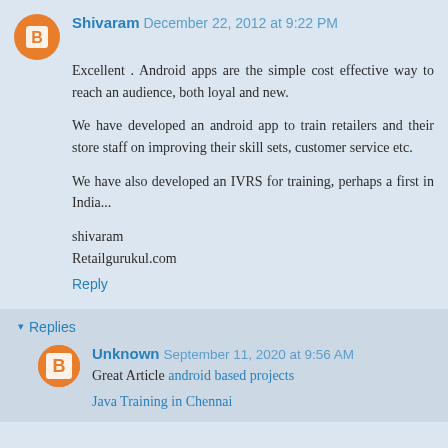Shivaram  December 22, 2012 at 9:22 PM
Excellent . Android apps are the simple cost effective way to reach an audience, both loyal and new.

We have developed an android app to train retailers and their store staff on improving their skill sets, customer service etc.

We have also developed an IVRS for training, perhaps a first in India...

shivaram
Retailgurukul.com
Reply
Replies
Unknown  September 11, 2020 at 9:56 AM
Great Article android based projects

Java Training in Chennai